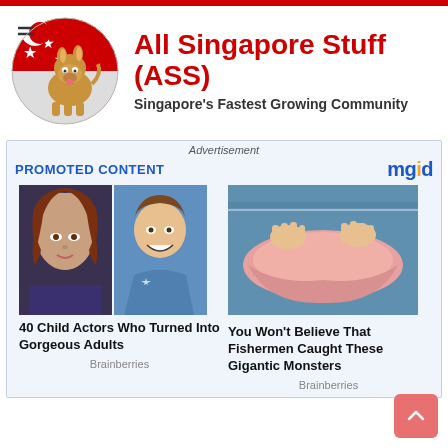[Figure (logo): All Singapore Stuff (ASS) logo with donkey mascot on Singapore flag background circle, red title text and subtitle]
Advertisement
PROMOTED CONTENT
[Figure (photo): Two photos side by side: young woman with long auburn hair and a smiling young girl in blue dress]
40 Child Actors Who Turned Into Gorgeous Adults
Brainberries
[Figure (photo): Pink dolphin or large fish being held by hands near water]
You Won't Believe That Fishermen Caught These Gigantic Monsters
Brainberries